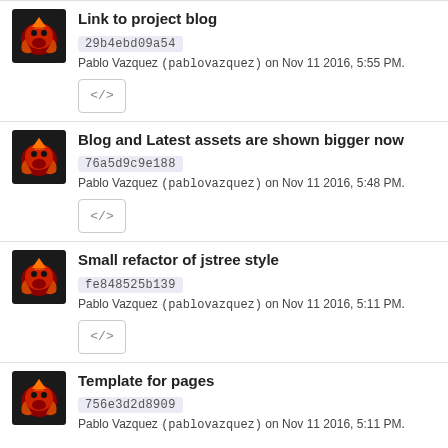Link to project blog
29b4ebd09a54
Pablo Vazquez (pablovazquez) on Nov 11 2016, 5:55 PM.
Blog and Latest assets are shown bigger now
76a5d9c9e188
Pablo Vazquez (pablovazquez) on Nov 11 2016, 5:48 PM.
Small refactor of jstree style
fe848525b139
Pablo Vazquez (pablovazquez) on Nov 11 2016, 5:11 PM.
Template for pages
756e3d2d8909
Pablo Vazquez (pablovazquez) on Nov 11 2016, 5:11 PM.